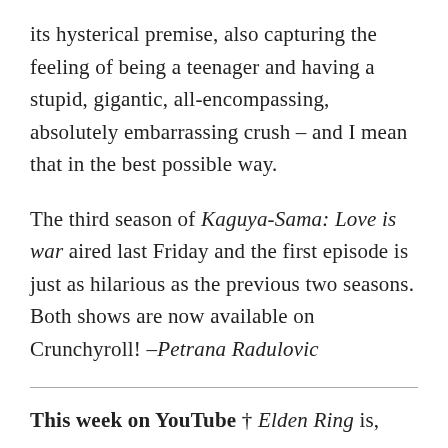its hysterical premise, also capturing the feeling of being a teenager and having a stupid, gigantic, all-encompassing, absolutely embarrassing crush – and I mean that in the best possible way.
The third season of Kaguya-Sama: Love is war aired last Friday and the first episode is just as hilarious as the previous two seasons. Both shows are now available on Crunchyroll! –Petrana Radulovic
This week on YouTube † Elden Ring is, yes,